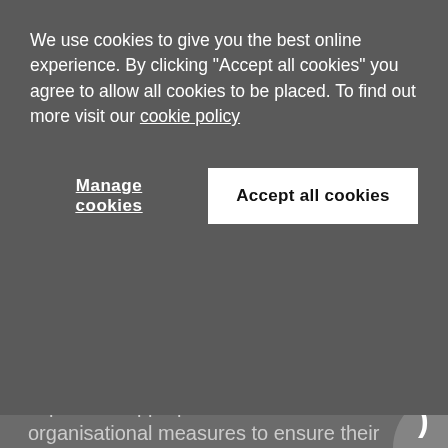[Figure (screenshot): Cookie consent overlay popup with text and two buttons: 'Manage cookies' and 'Accept all cookies']
they can also guide for cybersecurity in jurisdictions where no specific universal cybersecurity regulation is in place.
Article 24 of Regulation (EU) 2016/679 (the General Data Protection Regulation (GDPR)) requires data controllers to implement appropriate technical and organisational measures to ensure their processing complies with the GDPR. Moreover, pursuant to Article 32, taking into account the costs of implementation and the nature, scope...